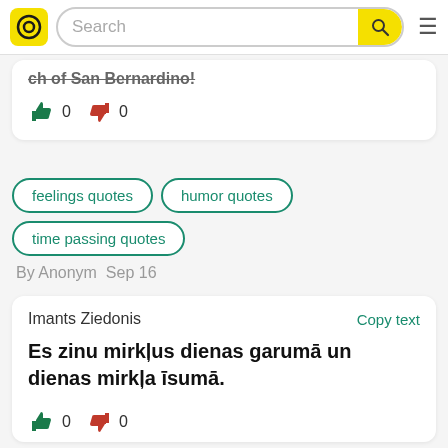Search
ch of San Bernardino! — (partial, struck through)
0  0 (thumbs up/down votes)
feelings quotes
humor quotes
time passing quotes
By Anonym  Sep 16
Imants Ziedonis
Copy text
Es zinu mirkļus dienas garumā un dienas mirkļa īsumā.
0  0 (thumbs up/down votes)